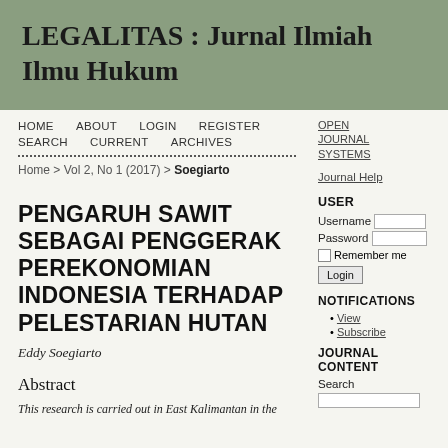LEGALITAS : Jurnal Ilmiah Ilmu Hukum
HOME   ABOUT   LOGIN   REGISTER   SEARCH   CURRENT   ARCHIVES
Home > Vol 2, No 1 (2017) > Soegiarto
PENGARUH SAWIT SEBAGAI PENGGERAK PEREKONOMIAN INDONESIA TERHADAP PELESTARIAN HUTAN
Eddy Soegiarto
Abstract
This research is carried out in East Kalimantan in the
OPEN JOURNAL SYSTEMS
Journal Help
USER
Username
Password
Remember me
Login
NOTIFICATIONS
View
Subscribe
JOURNAL CONTENT
Search